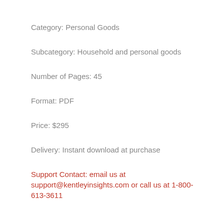Category: Personal Goods
Subcategory: Household and personal goods
Number of Pages: 45
Format: PDF
Price: $295
Delivery: Instant download at purchase
Support Contact: email us at support@kentleyinsights.com or call us at 1-800-613-3611